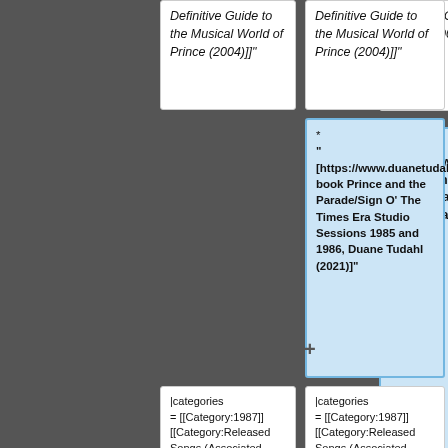Definitive Guide to the Musical World of Prince (2004)]]"
Definitive Guide to the Musical World of Prince (2004)]]"
*
"[https://www.duanetudahl.com/prince-book Prince and the Parade/Sign O' The Times Era Studio Sessions 1985 and 1986, Duane Tudahl (2021)]"
|categories
= [[Category:1987]]
[[Category:Released Songs (Associated Artists)]]
[[Category:Songs (Prince)]]
[[Category:Songs (Associated Artists)]]
[[Category:Recorded 1982]]
|categories
= [[Category:1987]]
[[Category:Released Songs (Associated Artists)]]
[[Category:Songs (Prince)]]
[[Category:Songs (Associated Artists)]]
[[Category:Recorded 1982]]